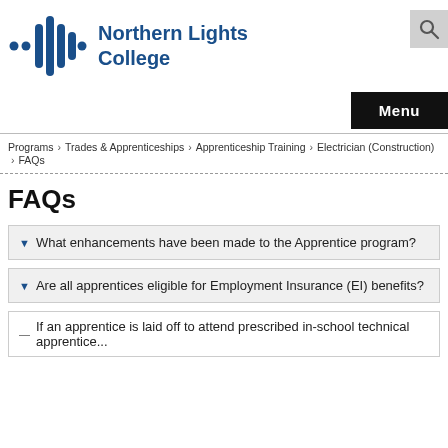[Figure (logo): Northern Lights College logo with blue sound wave icon and text 'Northern Lights College']
Menu
Programs > Trades & Apprenticeships > Apprenticeship Training > Electrician (Construction) > FAQs
FAQs
What enhancements have been made to the Apprentice program?
Are all apprentices eligible for Employment Insurance (EI) benefits?
If an apprentice is laid off to attend prescribed in-school technical apprentice...